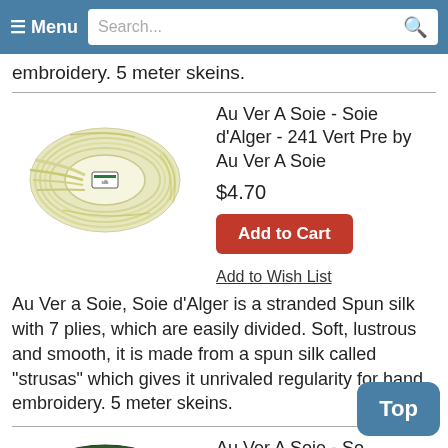Menu | Search...
embroidery. 5 meter skeins.
[Figure (photo): Skein of light yellow-green silk embroidery thread (Au Ver A Soie Soie d'Alger 241 Vert Pre)]
Au Ver A Soie - Soie d'Alger - 241 Vert Pre by Au Ver A Soie
$4.70
Add to Cart
Add to Wish List
Au Ver a Soie, Soie d'Alger is a stranded Spun silk with 7 plies, which are easily divided. Soft, lustrous and smooth, it is made from a spun silk called "strusas" which gives it unrivaled regularity for hand embroidery. 5 meter skeins.
[Figure (photo): Skein of dark green silk embroidery thread (Au Ver A Soie Soie d'Alger 2136 Vert Oeillet)]
Au Ver A Soie - Soie d'Alger - 2136 Vert Oeillet